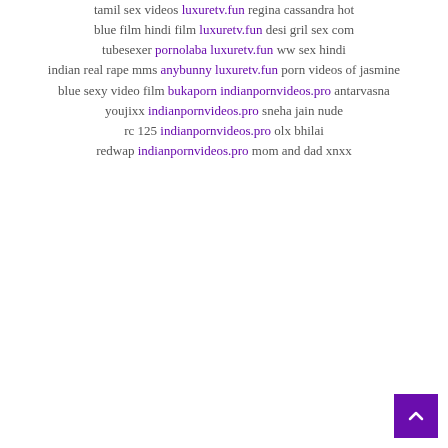tamil sex videos luxuretv.fun regina cassandra hot
blue film hindi film luxuretv.fun desi gril sex com
tubesexer pornolaba luxuretv.fun ww sex hindi
indian real rape mms anybunny luxuretv.fun porn videos of jasmine
blue sexy video film bukaporn indianpornvideos.pro antarvasna
youjixx indianpornvideos.pro sneha jain nude
rc 125 indianpornvideos.pro olx bhilai
redwap indianpornvideos.pro mom and dad xnxx